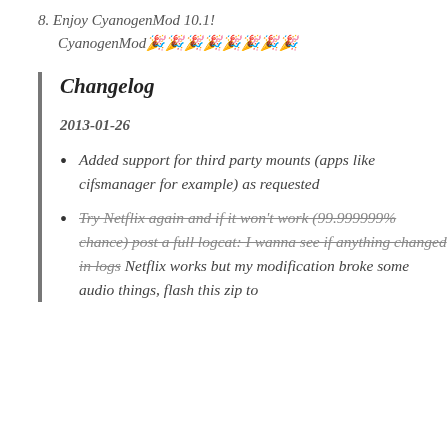8. Enjoy CyanogenMod 10.1!
CyanogenMod🎉🎉🎉🎉🎉🎉🎉🎉
Changelog
2013-01-26
Added support for third party mounts (apps like cifsmanager for example) as requested
Try Netflix again and if it won't work (99.999999% chance) post a full logcat: I wanna see if anything changed in logs Netflix works but my modification broke some audio things, flash this zip to